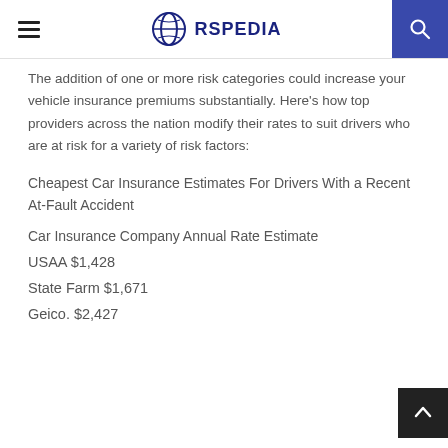RSPEDIA
The addition of one or more risk categories could increase your vehicle insurance premiums substantially. Here's how top providers across the nation modify their rates to suit drivers who are at risk for a variety of risk factors:
Cheapest Car Insurance Estimates For Drivers With a Recent At-Fault Accident
Car Insurance Company Annual Rate Estimate
USAA $1,428
State Farm $1,671
Geico. $2,427